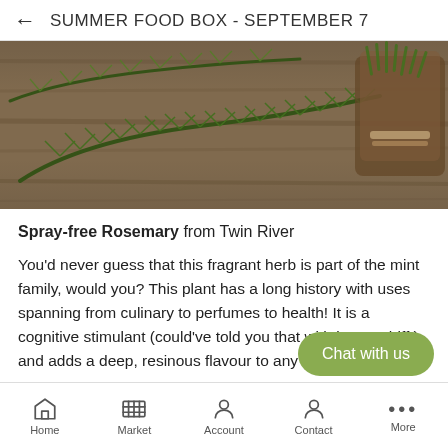← SUMMER FOOD BOX - SEPTEMBER 7
[Figure (photo): Rosemary sprigs on a wooden surface, with a bundled bunch tied with twine on the right side.]
Spray-free Rosemary from Twin River
You'd never guess that this fragrant herb is part of the mint family, would you? This plant has a long history with uses spanning from culinary to perfumes to health! It is a cognitive stimulant (could've told you that with just a whiff!) and adds a deep, resinous flavour to any dishes or eve
Home   Market   Account   Contact   More